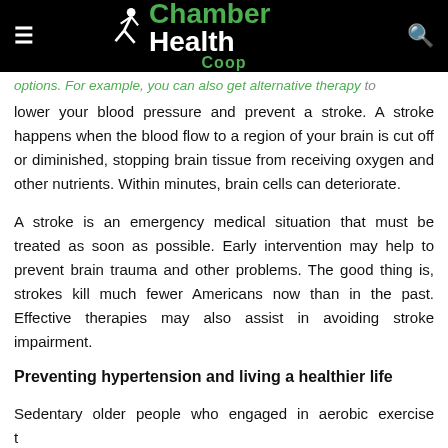Chamber Health Coop
lower your blood pressure and prevent a stroke. A stroke happens when the blood flow to a region of your brain is cut off or diminished, stopping brain tissue from receiving oxygen and other nutrients. Within minutes, brain cells can deteriorate.
A stroke is an emergency medical situation that must be treated as soon as possible. Early intervention may help to prevent brain trauma and other problems. The good thing is, strokes kill much fewer Americans now than in the past. Effective therapies may also assist in avoiding stroke impairment.
Preventing hypertension and living a healthier life
Sedentary older people who engaged in aerobic exercise training reduced their blood pressure by an aggregate of 3.9 percent systolic and 4.5 percent diastolic in a 2013 research. These outcomes are